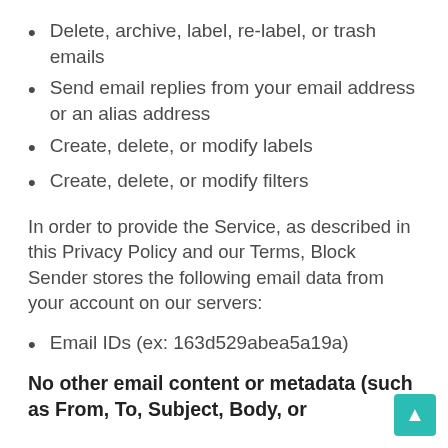Delete, archive, label, re-label, or trash emails
Send email replies from your email address or an alias address
Create, delete, or modify labels
Create, delete, or modify filters
In order to provide the Service, as described in this Privacy Policy and our Terms, Block Sender stores the following email data from your account on our servers:
Email IDs (ex: 163d529abea5a19a)
No other email content or metadata (such as From, To, Subject, Body, or